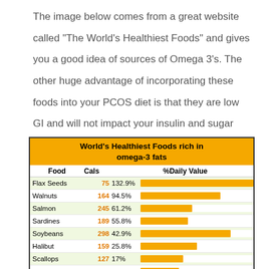The image below comes from a great website called "The World's Healthiest Foods" and gives you a good idea of sources of Omega 3's. The other huge advantage of incorporating these foods into your PCOS diet is that they are low GI and will not impact your insulin and sugar levels in an unhelpful way.
[Figure (bar-chart): World's Healthiest Foods rich in omega-3 fats]